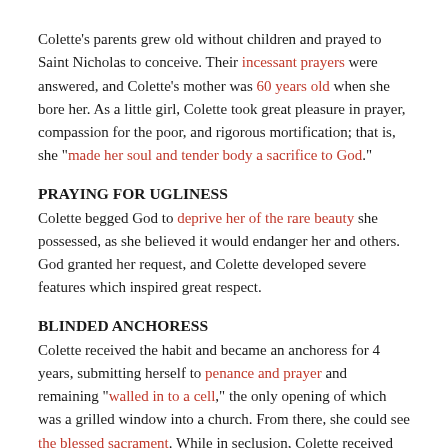Colette's parents grew old without children and prayed to Saint Nicholas to conceive. Their incessant prayers were answered, and Colette's mother was 60 years old when she bore her. As a little girl, Colette took great pleasure in prayer, compassion for the poor, and rigorous mortification; that is, she "made her soul and tender body a sacrifice to God."
PRAYING FOR UGLINESS
Colette begged God to deprive her of the rare beauty she possessed, as she believed it would endanger her and others. God granted her request, and Colette developed severe features which inspired great respect.
BLINDED ANCHORESS
Colette received the habit and became an anchoress for 4 years, submitting herself to penance and prayer and remaining "walled in to a cell," the only opening of which was a grilled window into a church. From there, she could see the blessed sacrament. While in seclusion, Colette received "many consolations from heaven" as well as "severe corporal abuse from the spirits of darkness."
During this period, she had a vision of Saint Francis of Assisi, who she...